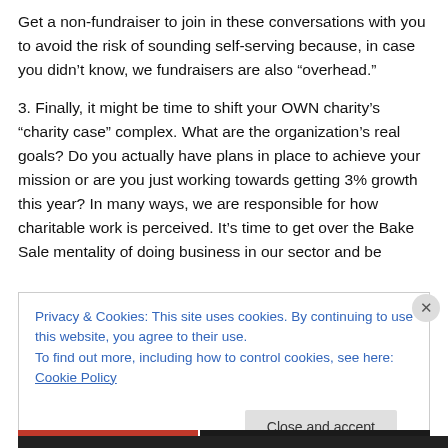Get a non-fundraiser to join in these conversations with you to avoid the risk of sounding self-serving because, in case you didn’t know, we fundraisers are also “overflow.”
3. Finally, it might be time to shift your OWN charity’s “charity case” complex. What are the organization’s real goals? Do you actually have plans in place to achieve your mission or are you just working towards getting 3% growth this year? In many ways, we are responsible for how charitable work is perceived. It’s time to get over the Bake Sale mentality of doing business in our sector and be
Privacy & Cookies: This site uses cookies. By continuing to use this website, you agree to their use.
To find out more, including how to control cookies, see here: Cookie Policy